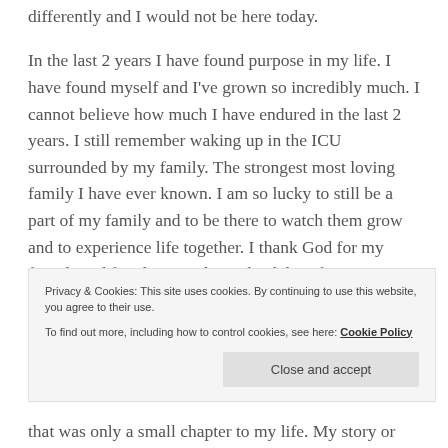differently and I would not be here today.
In the last 2 years I have found purpose in my life. I have found myself and I've grown so incredibly much. I cannot believe how much I have endured in the last 2 years. I still remember waking up in the ICU surrounded by my family. The strongest most loving family I have ever known. I am so lucky to still be a part of my family and to be there to watch them grow and to experience life together. I thank God for my friends and family everyday. I thank him for giving me that 2nd chance and I ask him every night
Privacy & Cookies: This site uses cookies. By continuing to use this website, you agree to their use. To find out more, including how to control cookies, see here: Cookie Policy
Close and accept
that was only a small chapter to my life. My story or